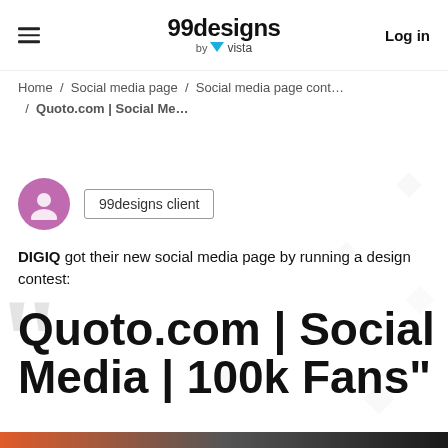99designs by vista | Log in
Home / Social media page / Social media page cont... / Quoto.com | Social Me...
99designs client
DIGIQ got their new social media page by running a design contest:
Quoto.com | Social Media | 100k Fans"